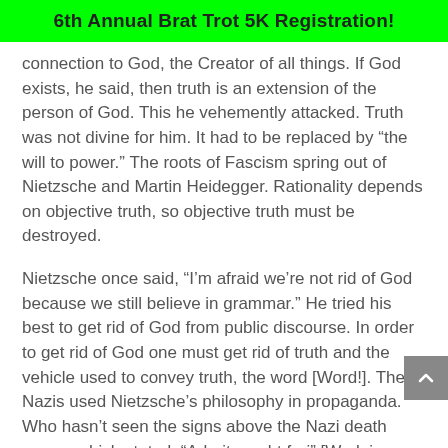6th Annual Brat Trot 5K Registration!
connection to God, the Creator of all things. If God exists, he said, then truth is an extension of the person of God. This he vehemently attacked. Truth was not divine for him. It had to be replaced by “the will to power.” The roots of Fascism spring out of Nietzsche and Martin Heidegger. Rationality depends on objective truth, so objective truth must be destroyed.
Nietzsche once said, “I’m afraid we’re not rid of God because we still believe in grammar.” He tried his best to get rid of God from public discourse. In order to get rid of God one must get rid of truth and the vehicle used to convey truth, the word [Word!]. The Nazis used Nietzsche’s philosophy in propaganda. Who hasn’t seen the signs above the Nazi death camps which stated, “Arbeit macht frei” [Work is (makes) freedom]? The co-opting of normal